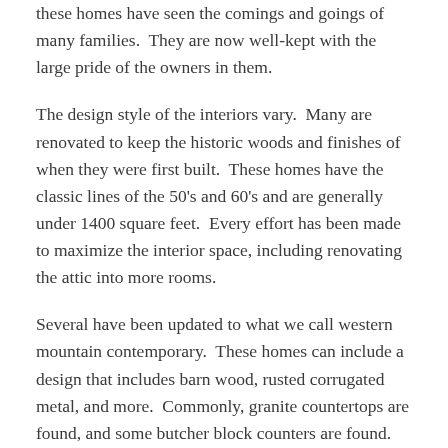these homes have seen the comings and goings of many families.  They are now well-kept with the large pride of the owners in them.
The design style of the interiors vary.  Many are renovated to keep the historic woods and finishes of when they were first built.  These homes have the classic lines of the 50's and 60's and are generally under 1400 square feet.  Every effort has been made to maximize the interior space, including renovating the attic into more rooms.
Several have been updated to what we call western mountain contemporary.  These homes can include a design that includes barn wood, rusted corrugated metal, and more.  Commonly, granite countertops are found, and some butcher block counters are found.  Cabinets have glass and floors a contemporary laminate or wood.
And there several that are remodeled to modern